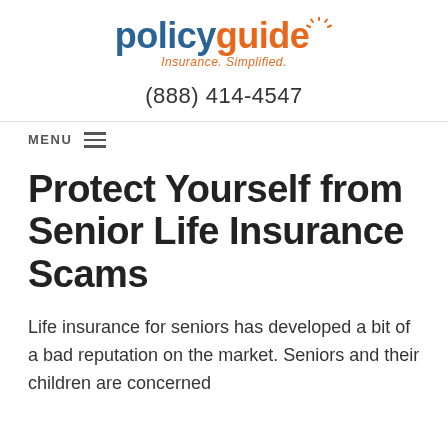policyguide Insurance. Simplified. (888) 414-4547
Protect Yourself from Senior Life Insurance Scams
Life insurance for seniors has developed a bit of a bad reputation on the market. Seniors and their children are concerned